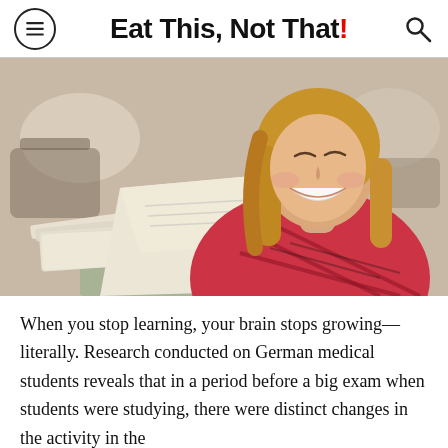Eat This, Not That!
[Figure (photo): A smiling young woman with long blonde hair reading a newspaper at an outdoor cafe, wearing a red plaid shirt. Blurred chairs and tables in the background.]
When you stop learning, your brain stops growing—literally. Research conducted on German medical students reveals that in a period before a big exam when students were studying, there were distinct changes in the activity in the